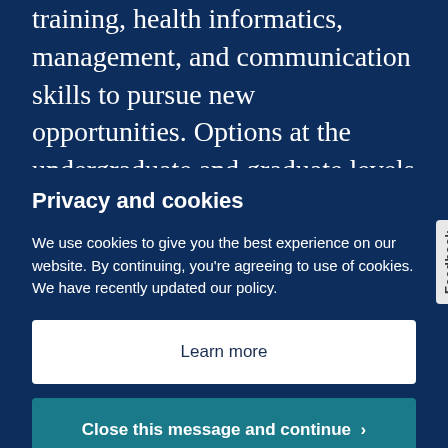training, health informatics, management, and communication skills to pursue new opportunities. Options at the undergraduate and graduate levels include bachelor's, master's, and doctorate programs. Also
Privacy and cookies
We use cookies to give you the best experience on our website. By continuing, you're agreeing to use of cookies. We have recently updated our policy.
Learn more
Close this message and continue ›